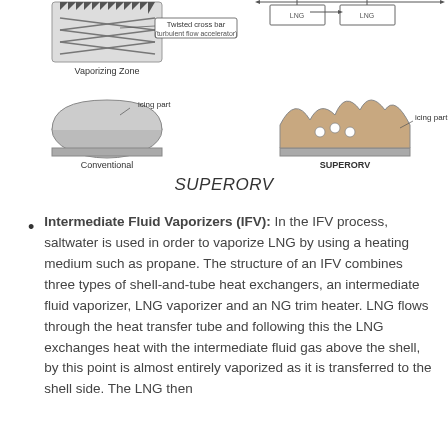[Figure (schematic): Diagram showing vaporizing zone with twisted cross bar (turbulent flow accelerator) label, and LNG flow diagram top right. Bottom row shows cross-section comparison: Conventional (left) with icing part label, and SUPERORV (right) with icing part label.]
SUPERORV
Intermediate Fluid Vaporizers (IFV): In the IFV process, saltwater is used in order to vaporize LNG by using a heating medium such as propane. The structure of an IFV combines three types of shell-and-tube heat exchangers, an intermediate fluid vaporizer, LNG vaporizer and an NG trim heater. LNG flows through the heat transfer tube and following this the LNG exchanges heat with the intermediate fluid gas above the shell, by this point is almost entirely vaporized as it is transferred to the shell side. The LNG then